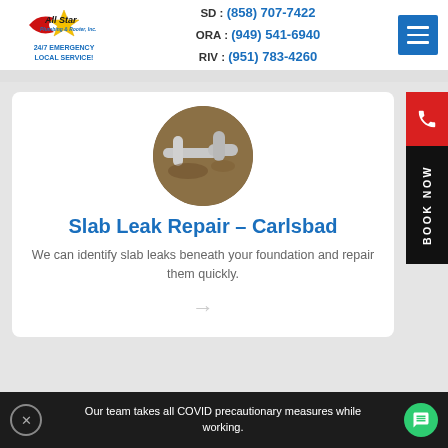[Figure (logo): All Star Plumbing logo with star graphic]
24/7 EMERGENCY LOCAL SERVICE!
SD : (858) 707-7422
ORA : (949) 541-6940
RIV : (951) 783-4260
[Figure (photo): Circular photo of slab pipes and plumbing repair work underground]
Slab Leak Repair – Carlsbad
We can identify slab leaks beneath your foundation and repair them quickly.
Our team takes all COVID precautionary measures while working.